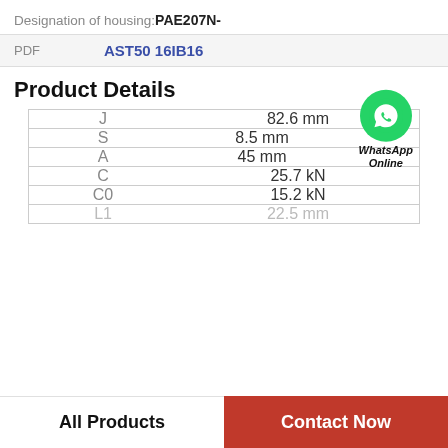Designation of housing: PAE207N-
PDF    AST50 16IB16
Product Details
| Parameter | Value |
| --- | --- |
| J | 82.6 mm |
| S | 8.5 mm |
| A | 45 mm |
| C | 25.7 kN |
| C0 | 15.2 kN |
| L1 | 22.5 mm |
All Products    Contact Now